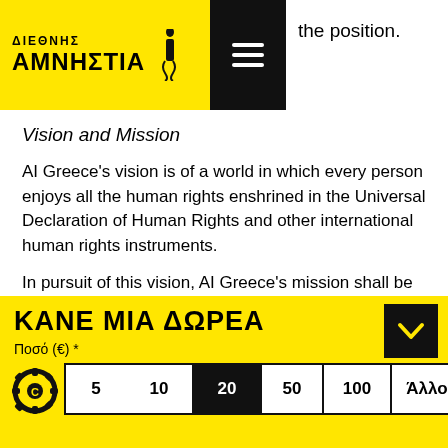ΔΙΕΘΝΗΣ ΑΜΝΗΣΤΙΑ [logo]
the position.
Vision and Mission
AI Greece's vision is of a world in which every person enjoys all the human rights enshrined in the Universal Declaration of Human Rights and other international human rights instruments.
In pursuit of this vision, AI Greece's mission shall be to undertake research and action focused on preventing and ending grave abuses of the aforementioned human rights...
ΚΑΝΕ ΜΙΑ ΔΩΡΕΑ
Ποσό (€) *
5  10  20  50  100  Άλλο  ΔΩΡΕΑ